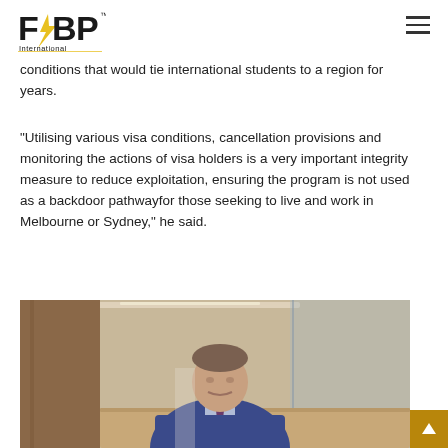FBP International
conditions that would tie international students to a region for years.
"Utilising various visa conditions, cancellation provisions and monitoring the actions of visa holders is a very important integrity measure to reduce exploitation, ensuring the program is not used as a backdoor pathwayfor those seeking to live and work in Melbourne or Sydney," he said.
[Figure (photo): A man in a blue suit and dark tie sitting at a desk in an office setting with glass partitions and warm wooden interior.]